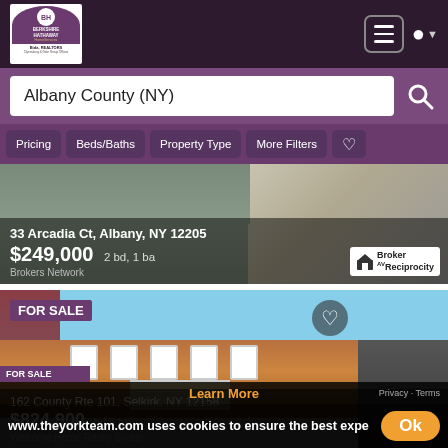Berkshire Hathaway HomeServices — Header navigation bar
Albany County (NY)
Pricing  Beds/Baths  Property Type  More Filters
[Figure (photo): House listing photo for 33 Arcadia Ct, Albany, NY 12205. Price $249,000, 2 bd, 1 ba. Brokers Network. Broker Reciprocity badge.]
[Figure (photo): House listing photo for 162 County Rte 101, Selkirk, NY 12158. FOR SALE badge. Price $824,900. Welcome Home Realty Group.]
www.theyorkteam.com uses cookies to ensure the best expe
Learn More
Privacy · Terms